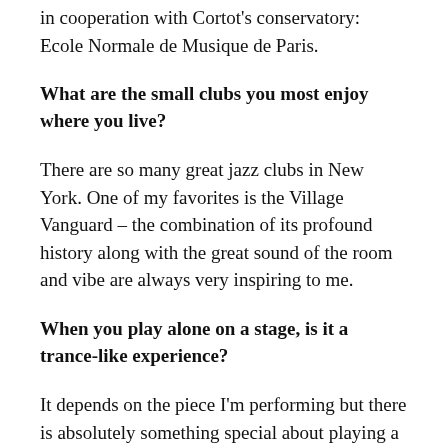in cooperation with Cortot's conservatory: Ecole Normale de Musique de Paris.
What are the small clubs you most enjoy where you live?
There are so many great jazz clubs in New York. One of my favorites is the Village Vanguard – the combination of its profound history along with the great sound of the room and vibe are always very inspiring to me.
When you play alone on a stage, is it a trance-like experience?
It depends on the piece I'm performing but there is absolutely something special about playing a solo piano concert. The piano can